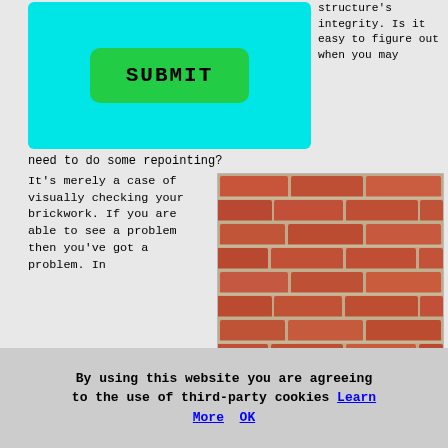[Figure (screenshot): Green SUBMIT button on a cyan background, representing a web form submission button]
structure's integrity. Is it easy to figure out when you may need to do some repointing?
It's merely a case of visually checking your brickwork. If you are able to see a problem then you've got a problem. In areas such as on chimney stacks or under eaves it might be necessary for a professional to check, but in most cases you ought to be able to see for yourself the physical warning signs of deterioration.
[Figure (photo): Close-up photograph of a red brick wall showing mortar joints between bricks, illustrating brickwork that may need repointing]
By using this website you are agreeing to the use of third-party cookies Learn More  OK